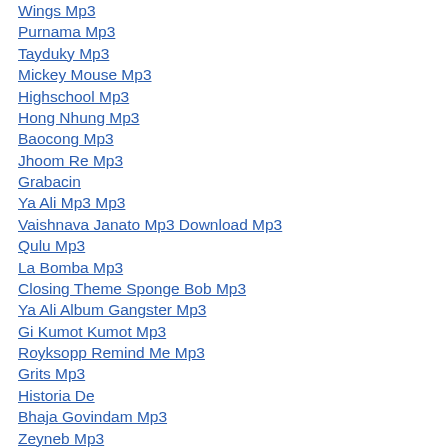Wings Mp3
Purnama Mp3
Tayduky Mp3
Mickey Mouse Mp3
Highschool Mp3
Hong Nhung Mp3
Baocong Mp3
Jhoom Re Mp3
Grabacin
Ya Ali Mp3 Mp3
Vaishnava Janato Mp3 Download Mp3
Qulu Mp3
La Bomba Mp3
Closing Theme Sponge Bob Mp3
Ya Ali Album Gangster Mp3
Gi Kumot Kumot Mp3
Royksopp Remind Me Mp3
Grits Mp3
Historia De
Bhaja Govindam Mp3
Zeyneb Mp3
Chacarron Macarron Mp3
Konul Mp3
Padiangan 6 Mp3
Angr Mp3
Angra Mp3